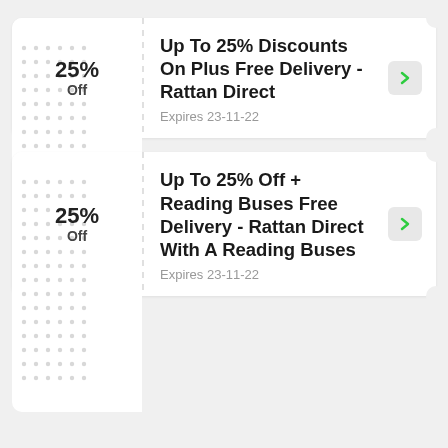Up To 25% Discounts On Plus Free Delivery - Rattan Direct
Expires 23-11-22
Up To 25% Off + Reading Buses Free Delivery - Rattan Direct With A Reading Buses
Expires 23-11-22